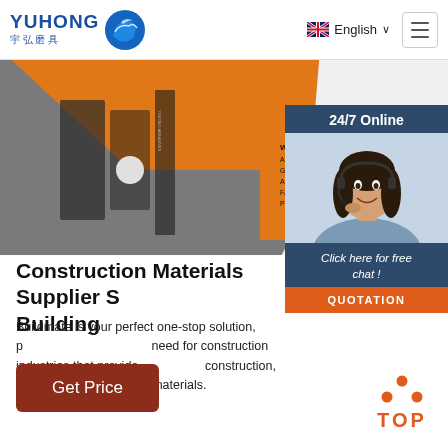[Figure (logo): Yuhong logo with blue wave icon and Chinese characters 宇弘磨具]
English ∨
[Figure (photo): Close-up of an orange and grey abrasive cutting disc with WARNING safety text visible]
[Figure (photo): 24/7 Online chat widget showing a female customer service agent wearing a headset, with 'Click here for free chat!' and a QUOTATION button]
Construction Materials Supplier S... Building
Buildmate is your perfect one-stop solution, p... need for construction industries that provide ... construction, renovation, and building materials.
[Figure (other): Get Price button — dark red rounded rectangle]
[Figure (other): TOP back-to-top button with orange dots and orange TOP text]